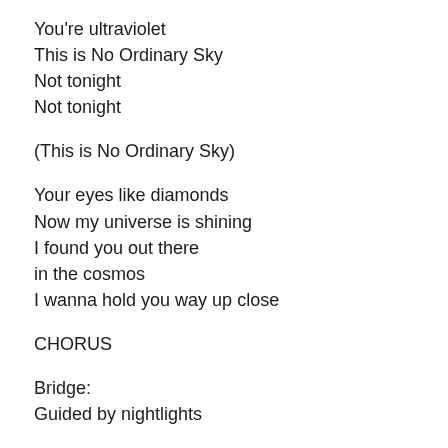You're ultraviolet
This is No Ordinary Sky
Not tonight
Not tonight
(This is No Ordinary Sky)
Your eyes like diamonds
Now my universe is shining
I found you out there
in the cosmos
I wanna hold you way up close
CHORUS
Bridge:
Guided by nightlights